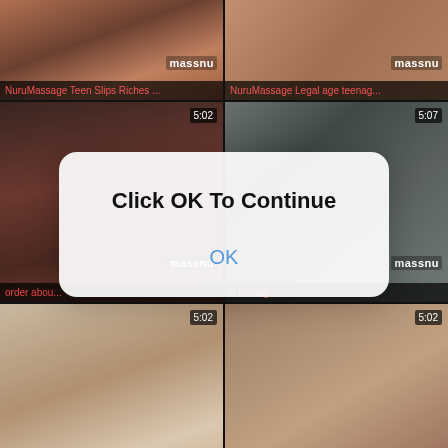[Figure (screenshot): Video thumbnail grid showing adult content thumbnails with watermark 'massnu', duration badges, and titles. A modal dialog overlays the center with 'Click OK To Continue' and an 'OK' button.]
NuruMassage Teen Slips Riches ...
NuruMassage Legal age teenag...
5:02
5:07
order abou...
e teenag ...
5:02
Finest low-spirited massage re...
the man legal age teenager giv ...
5:07
5:07
Click OK To Continue
OK